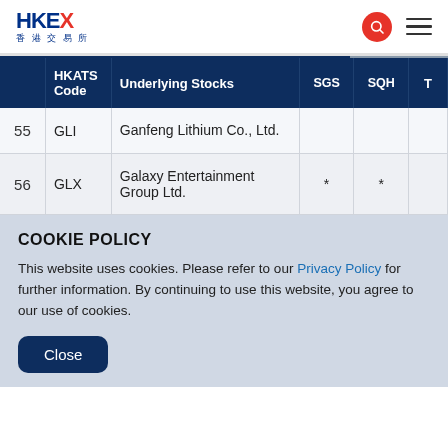HKEX 香港交易所
|  | HKATS Code | Underlying Stocks | SGS | SQH | T |
| --- | --- | --- | --- | --- | --- |
| 55 | GLI | Ganfeng Lithium Co., Ltd. |  |  |  |
| 56 | GLX | Galaxy Entertainment Group Ltd. | * | * |  |
COOKIE POLICY
This website uses cookies. Please refer to our Privacy Policy for further information. By continuing to use this website, you agree to our use of cookies.
Close